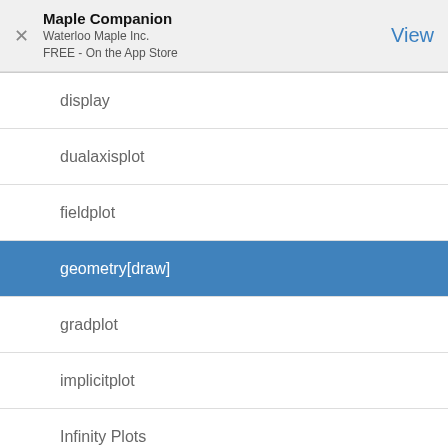Maple Companion
Waterloo Maple Inc.
FREE - On the App Store
display
dualaxisplot
fieldplot
geometry[draw]
gradplot
implicitplot
Infinity Plots
loglogplot
logplot